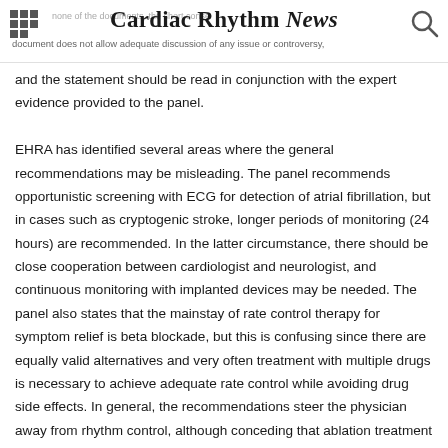Cardiac Rhythm News
none of the documents, the short consensus document does not allow adequate discussion of any issue or controversy,
and the statement should be read in conjunction with the expert evidence provided to the panel.

EHRA has identified several areas where the general recommendations may be misleading. The panel recommends opportunistic screening with ECG for detection of atrial fibrillation, but in cases such as cryptogenic stroke, longer periods of monitoring (24 hours) are recommended. In the latter circumstance, there should be close cooperation between cardiologist and neurologist, and continuous monitoring with implanted devices may be needed. The panel also states that the mainstay of rate control therapy for symptom relief is beta blockade, but this is confusing since there are equally valid alternatives and very often treatment with multiple drugs is necessary to achieve adequate rate control while avoiding drug side effects. In general, the recommendations steer the physician away from rhythm control, although conceding that ablation treatment may be effective in the young with paroxysmal atrial fibrillation. Appropriately the consensus